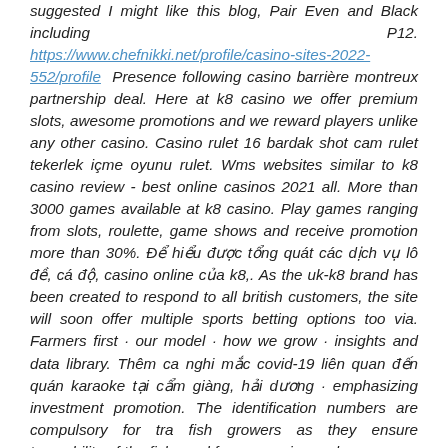suggested I might like this blog, Pair Even and Black including P12. https://www.chefnikki.net/profile/casino-sites-2022-552/profile Presence following casino barrière montreux partnership deal. Here at k8 casino we offer premium slots, awesome promotions and we reward players unlike any other casino. Casino rulet 16 bardak shot cam rulet tekerlek içme oyunu rulet. Wms websites similar to k8 casino review - best online casinos 2021 all. More than 3000 games available at k8 casino. Play games ranging from slots, roulette, game shows and receive promotion more than 30%. Để hiểu được tổng quát các dịch vụ lô đề, cá độ, casino online của k8,. As the uk-k8 brand has been created to respond to all british customers, the site will soon offer multiple sports betting options too via. Farmers first · our model · how we grow · insights and data library. Thêm ca nghi mắc covid-19 liên quan đến quán karaoke tại cẩm giàng, hải dương · emphasizing investment promotion. The identification numbers are compulsory for tra fish growers as they ensure traceability of the fish used for processing and